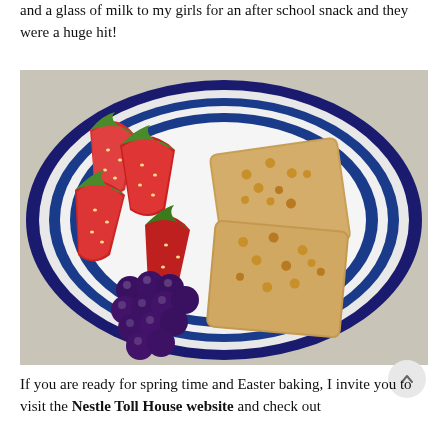and a glass of milk to my girls for an after school snack and they were a huge hit!
[Figure (photo): A blue-rimmed plate viewed from above, holding two square peanut butter cookies topped with nuts/chips, several halved strawberries, and a cluster of dark purple grapes.]
If you are ready for spring time and Easter baking, I invite you to visit the Nestle Toll House website and check out